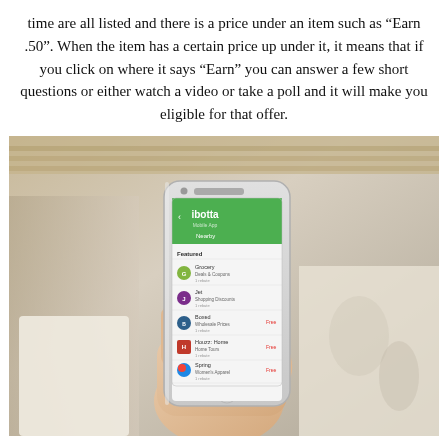time are all listed and there is a price under an item such as "Earn .50". When the item has a certain price up under it, it means that if you click on where it says "Earn" you can answer a few short questions or either watch a video or take a poll and it will make you eligible for that offer.
[Figure (photo): A hand holding a white iPhone displaying the ibotta app screen showing a list of featured apps with their logos and names on a green and white interface.]